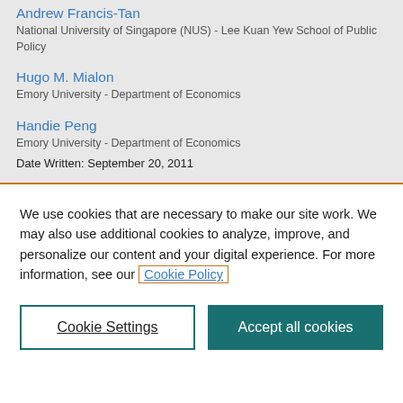Andrew Francis-Tan
National University of Singapore (NUS) - Lee Kuan Yew School of Public Policy
Hugo M. Mialon
Emory University - Department of Economics
Handie Peng
Emory University - Department of Economics
Date Written: September 20, 2011
We use cookies that are necessary to make our site work. We may also use additional cookies to analyze, improve, and personalize our content and your digital experience. For more information, see our Cookie Policy
Cookie Settings
Accept all cookies